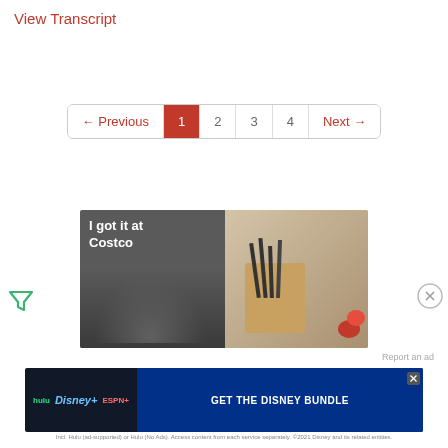View Transcript
← Previous  1  2  3  4  Next →
[Figure (photo): Costco advertisement showing 'I got it at Costco' with a person wearing VR headset on the left panel and a knife block set with tomatoes on the right panel.]
[Figure (photo): Disney Bundle advertisement showing Hulu, Disney+, and ESPN+ logos with text 'GET THE DISNEY BUNDLE'. Fine print: Incl. Hulu (ad-supported) or Hulu (No Ads). Access content from each service separately. ©2021 Disney and its related entities.]